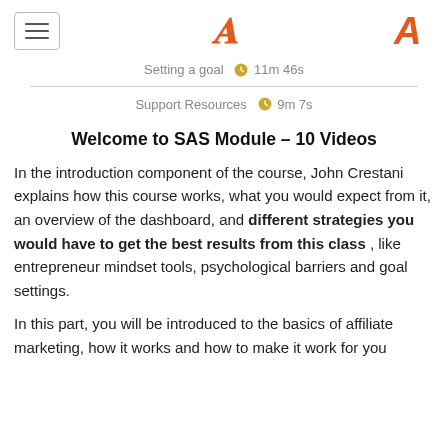≡  [logo A]
Setting a goal  🕐 11m 46s
Support Resources  🕐 9m 7s
Welcome to SAS Module – 10 Videos
In the introduction component of the course, John Crestani explains how this course works, what you would expect from it, an overview of the dashboard, and different strategies you would have to get the best results from this class , like entrepreneur mindset tools, psychological barriers and goal settings.
In this part, you will be introduced to the basics of affiliate marketing, how it works and how to make it work for you